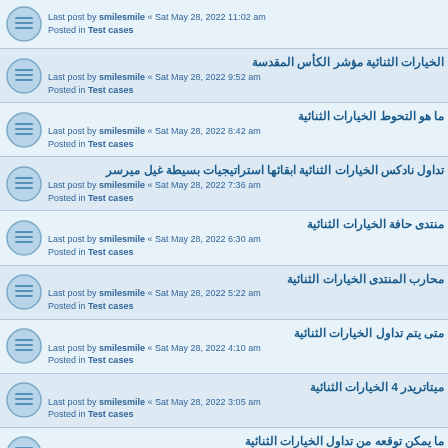Last post by smilesmile « Sat May 28, 2022 11:02 am
Posted in Test cases
الخيارات الثنائية مؤشر الكأس المقدسة
Last post by smilesmile « Sat May 28, 2022 9:52 am
Posted in Test cases
ما هو التحوط الخيارات الثنائية
Last post by smilesmile « Sat May 28, 2022 8:42 am
Posted in Test cases
تداول نادكس الخيارات الثنائية ابقائها استراتيجيات بسيطة غيل ميرسر
Last post by smilesmile « Sat May 28, 2022 7:36 am
Posted in Test cases
منتدى حافة الخيارات الثنائية
Last post by smilesmile « Sat May 28, 2022 6:30 am
Posted in Test cases
محارب المنتدى الخيارات الثنائية
Last post by smilesmile « Sat May 28, 2022 5:22 am
Posted in Test cases
متى يتم تداول الخيارات الثنائية
Last post by smilesmile « Sat May 28, 2022 4:10 am
Posted in Test cases
ميتاتريدر 4 الخيارات الثنائية
Last post by smilesmile « Sat May 28, 2022 3:05 am
Posted in Test cases
ما يمكن توقعه من تداول الخيارات الثنائية
Last post by smilesmile « Fri May 27, 2022 10:37 am
Posted in Test cases